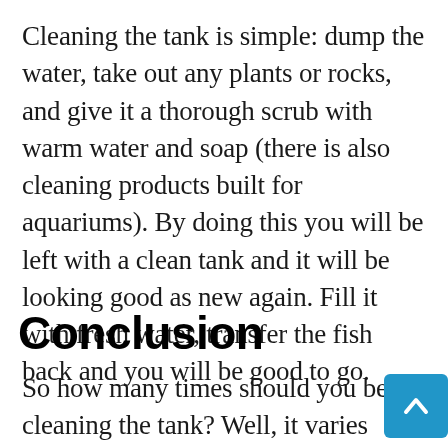Cleaning the tank is simple: dump the water, take out any plants or rocks, and give it a thorough scrub with warm water and soap (there is also cleaning products built for aquariums). By doing this you will be left with a clean tank and it will be looking good as new again. Fill it with fresh water, transfer the fish back and you will be good to go.
Conclusion
So how many times should you be cleaning the tank? Well, it varies depending on the size of the tank, the type of fish you have, and the filter